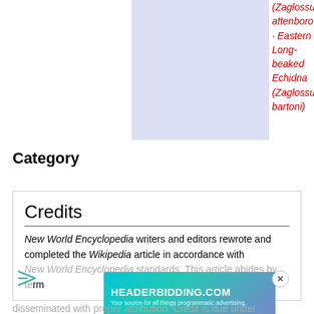[Figure (other): Light blue/lavender placeholder image area]
(Zaglossus attenboroughi) · Eastern Long-beaked Echidna (Zaglossus bartoni)
Category
Credits
New World Encyclopedia writers and editors rewrote and completed the Wikipedia article in accordance with New World Encyclopedia standards. This article abides by terms of the Creative Commons CC-by-sa 3.0 License (CC-by-sa), which may be used and disseminated with proper attribution. Credit is due under